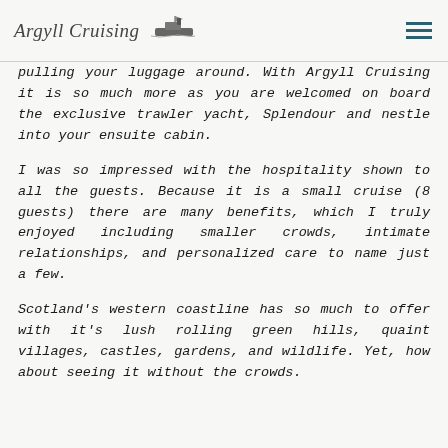Argyll Cruising
pulling your luggage around. With Argyll Cruising it is so much more as you are welcomed on board the exclusive trawler yacht, Splendour and nestle into your ensuite cabin.
I was so impressed with the hospitality shown to all the guests. Because it is a small cruise (8 guests) there are many benefits, which I truly enjoyed including smaller crowds, intimate relationships, and personalized care to name just a few.
Scotland's western coastline has so much to offer with it's lush rolling green hills, quaint villages, castles, gardens, and wildlife. Yet, how about seeing it without the crowds.